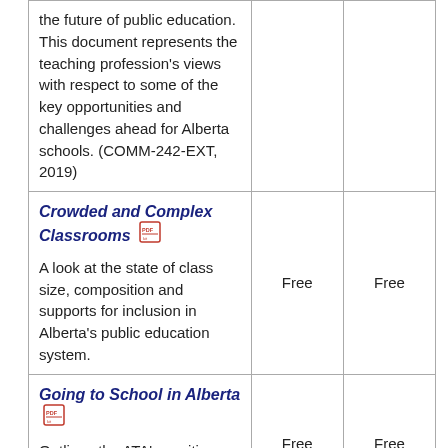| Publication | Member Price | Non-Member Price |
| --- | --- | --- |
| the future of public education. This document represents the teaching profession's views with respect to some of the key opportunities and challenges ahead for Alberta schools. (COMM-242-EXT, 2019) | Free | Free |
| Crowded and Complex Classrooms [PDF icon] A look at the state of class size, composition and supports for inclusion in Alberta's public education system. | Free | Free |
| Going to School in Alberta [PDF icon] Outlines the ATA's position on alternative programs, private schools, charter schools... | Free | Free |